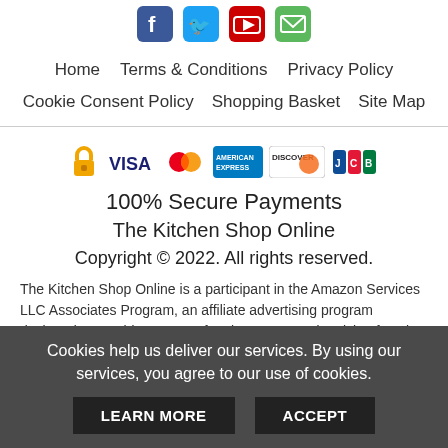[Figure (illustration): Row of social media icons: Facebook, Twitter, YouTube, Email]
Home    Terms & Conditions    Privacy Policy
Cookie Consent Policy    Shopping Basket    Site Map
[Figure (illustration): Payment security logos: lock icon, VISA, Mastercard, American Express, Discover, JCB]
100% Secure Payments
The Kitchen Shop Online
Copyright © 2022. All rights reserved.
The Kitchen Shop Online is a participant in the Amazon Services LLC Associates Program, an affiliate advertising program designed to provide a means for sites to earn advertising fees by
Cookies help us deliver our services. By using our services, you agree to our use of cookies.
LEARN MORE    ACCEPT